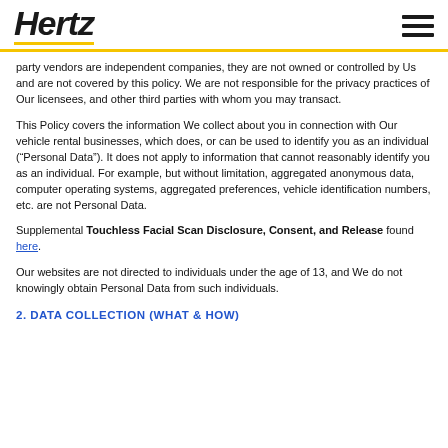Hertz
party vendors are independent companies, they are not owned or controlled by Us and are not covered by this policy. We are not responsible for the privacy practices of Our licensees, and other third parties with whom you may transact.
This Policy covers the information We collect about you in connection with Our vehicle rental businesses, which does, or can be used to identify you as an individual (“Personal Data”). It does not apply to information that cannot reasonably identify you as an individual. For example, but without limitation, aggregated anonymous data, computer operating systems, aggregated preferences, vehicle identification numbers, etc. are not Personal Data.
Supplemental Touchless Facial Scan Disclosure, Consent, and Release found here.
Our websites are not directed to individuals under the age of 13, and We do not knowingly obtain Personal Data from such individuals.
2. DATA COLLECTION (WHAT & HOW)